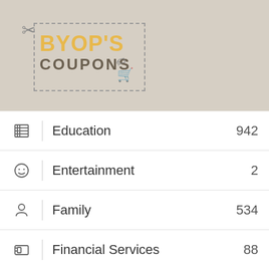[Figure (logo): BYOP'S COUPONS logo with scissors icon, dashed border, price tag and shopping cart icons on beige background]
| Category | Count |
| --- | --- |
| Education | 942 |
| Entertainment | 2 |
| Family | 534 |
| Financial Services | 88 |
| Food & Drinks | 1,736 |
| Games & Toys | 320 |